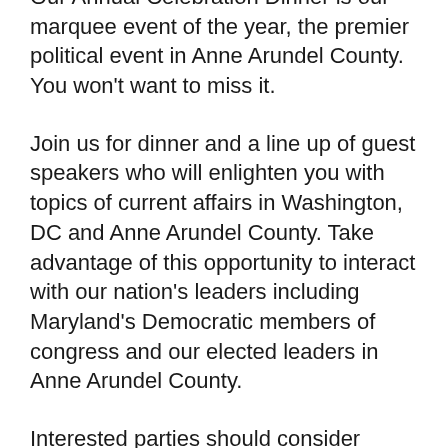Our Annual Celebration Dinner is our marquee event of the year, the premier political event in Anne Arundel County. You won't want to miss it.
Join us for dinner and a line up of guest speakers who will enlighten you with topics of current affairs in Washington, DC and Anne Arundel County. Take advantage of this opportunity to interact with our nation's leaders including Maryland's Democratic members of congress and our elected leaders in Anne Arundel County.
Interested parties should consider purchasing a sponsorship or ad in our program book to show your support. Information can be found below. To purchase, click the link above.